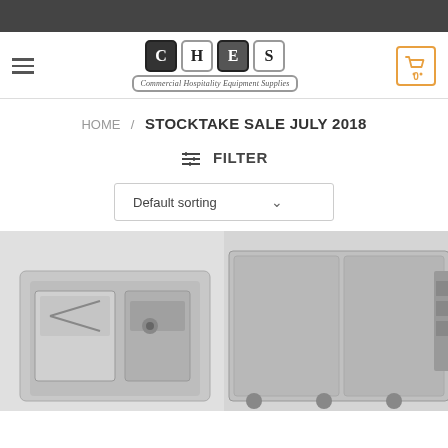[Figure (logo): CHES Commercial Hospitality Equipment Supplies logo with letter tiles and tagline]
HOME / STOCKTAKE SALE JULY 2018
⇌ FILTER
Default sorting
[Figure (photo): Commercial kitchen oven/combi equipment, stainless steel]
[Figure (photo): Commercial refrigerator unit, stainless steel, two-door under-counter]